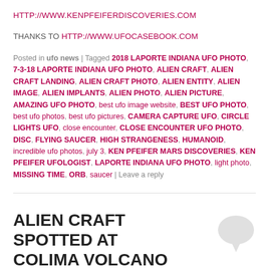HTTP://WWW.KENPFEIFERDISCOVERIES.COM
THANKS TO HTTP://WWW.UFOCASEBOOK.COM
Posted in ufo news | Tagged 2018 LAPORTE INDIANA UFO PHOTO, 7-3-18 LAPORTE INDIANA UFO PHOTO, ALIEN CRAFT, ALIEN CRAFT LANDING, ALIEN CRAFT PHOTO, ALIEN ENTITY, ALIEN IMAGE, ALIEN IMPLANTS, ALIEN PHOTO, ALIEN PICTURE, AMAZING UFO PHOTO, best ufo image website, BEST UFO PHOTO, best ufo photos, best ufo pictures, CAMERA CAPTURE UFO, CIRCLE LIGHTS UFO, close encounter, CLOSE ENCOUNTER UFO PHOTO, DISC, FLYING SAUCER, HIGH STRANGENESS, HUMANOID, incredible ufo photos, july 3, KEN PFEIFER MARS DISCOVERIES, KEN PFEIFER UFOLOGIST, LAPORTE INDIANA UFO PHOTO, light photo, MISSING TIME, ORB, saucer | Leave a reply
ALIEN CRAFT SPOTTED AT COLIMA VOLCANO IN